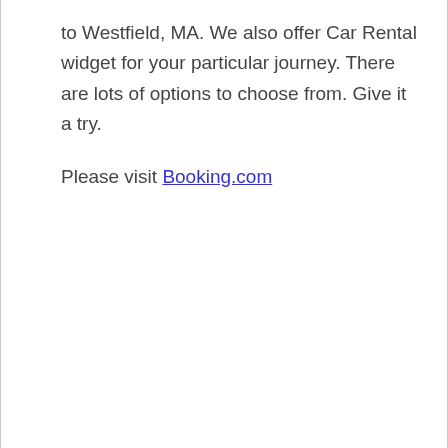to Westfield, MA. We also offer Car Rental widget for your particular journey. There are lots of options to choose from. Give it a try.
Please visit Booking.com